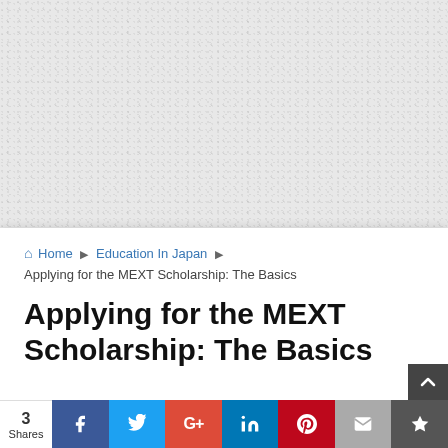[Figure (photo): Light grey textured background, resembling paper or concrete surface, occupying the upper portion of the page.]
Home ▶ Education In Japan ▶ Applying for the MEXT Scholarship: The Basics
Applying for the MEXT Scholarship: The Basics
2017年10月1日  Education in Japan, MEXT, Scholarships in Japan  73 Comments